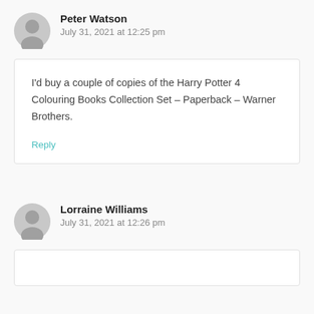Peter Watson
July 31, 2021 at 12:25 pm
I'd buy a couple of copies of the Harry Potter 4 Colouring Books Collection Set – Paperback – Warner Brothers.
Reply
Lorraine Williams
July 31, 2021 at 12:26 pm